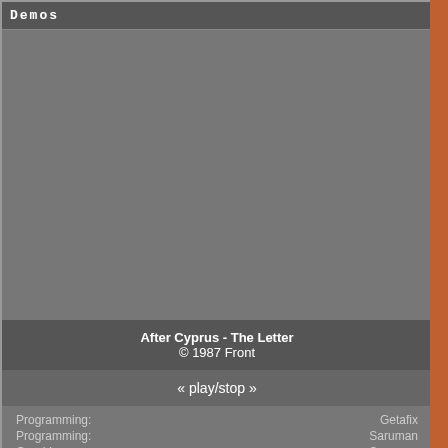Demos
[Figure (screenshot): Gray video/demo playback area]
After Cyprus - The Letter
© 1987 Front
« play/stop »
Programming: Getafix
Programming: Saruman
Graphics: Saruman
Graphics: Screen 1 font uncredited
Music: Rob Hubbard
Music: Turbo Cracker'87